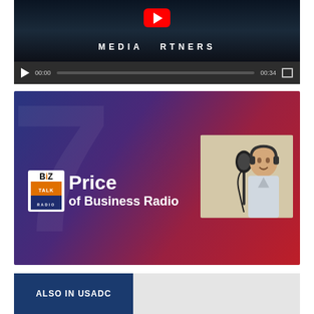[Figure (screenshot): Video player showing 'MEDIA PARTNERS' title screen with YouTube play button overlay. Controls show 00:00 / 00:34 timestamp and fullscreen button.]
[Figure (screenshot): BizTalk Radio thumbnail image showing 'Price of Business Radio' text with BizTalk Radio logo and a man wearing headphones speaking into a microphone on a blue-to-red gradient background.]
ALSO IN USADC